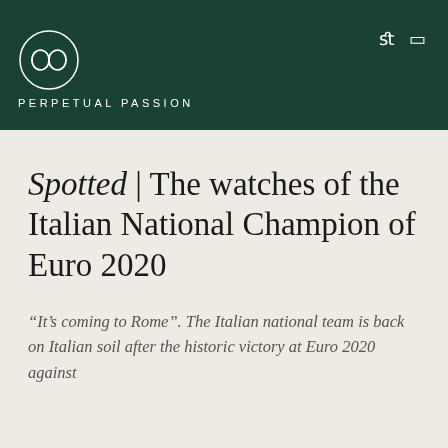PERPETUAL PASSION
Spotted | The watches of the Italian National Champion of Euro 2020
“It’s coming to Rome”. The Italian national team is back on Italian soil after the historic victory at Euro 2020 against